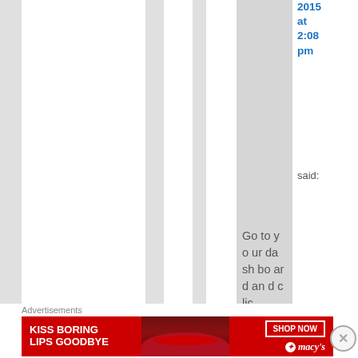2015 at 2:08 pm said:
Go to your dashboard and clic
Advertisements
[Figure (photo): Macy's advertisement banner with red background showing 'Kiss Boring Lips Goodbye' with woman's face and lips, SHOP NOW button and Macy's logo]